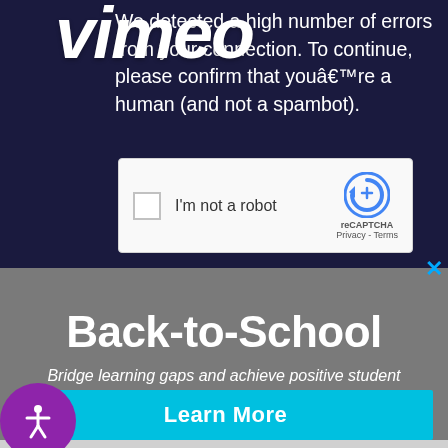[Figure (screenshot): Vimeo reCAPTCHA verification dialog on dark navy background with error message and checkbox]
We detected a high number of errors from your connection. To continue, please confirm that you’re a human (and not a spambot).
I'm not a robot
reCAPTCHA
Privacy - Terms
Back-to-School
Bridge learning gaps and achieve positive student outcomes
Learn More